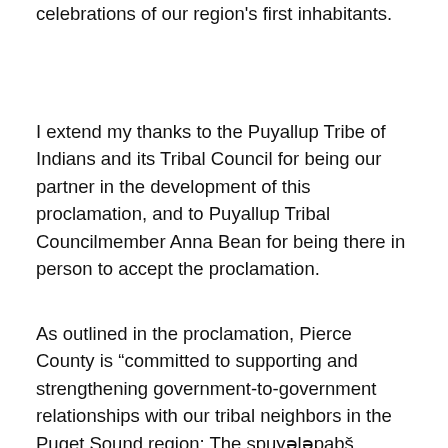celebrations of our region's first inhabitants.
I extend my thanks to the Puyallup Tribe of Indians and its Tribal Council for being our partner in the development of this proclamation, and to Puyallup Tribal Councilmember Anna Bean for being there in person to accept the proclamation.
As outlined in the proclamation, Pierce County is “committed to supporting and strengthening government-to-government relationships with our tribal neighbors in the Puget Sound region: The spuyələpabš (Puyallup), bəqəlšuŧabš (Muckleshoot), dxʷsqʼwaliʔabš (Nisqually) and sqʷačsədəbš (Squaxin Island) tribes who reside, have lands within or have treaty